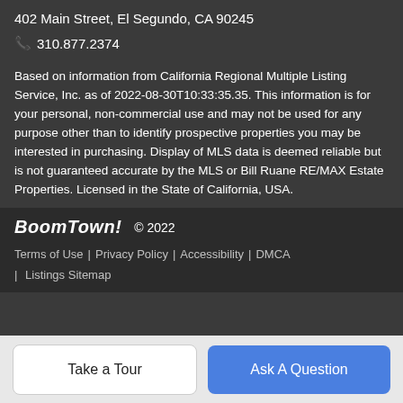402 Main Street, El Segundo, CA 90245
📞 310.877.2374
Based on information from California Regional Multiple Listing Service, Inc. as of 2022-08-30T10:33:35.35. This information is for your personal, non-commercial use and may not be used for any purpose other than to identify prospective properties you may be interested in purchasing. Display of MLS data is deemed reliable but is not guaranteed accurate by the MLS or Bill Ruane RE/MAX Estate Properties. Licensed in the State of California, USA.
BoomTown! © 2022 | Terms of Use | Privacy Policy | Accessibility | DMCA | Listings Sitemap
Take a Tour | Ask A Question